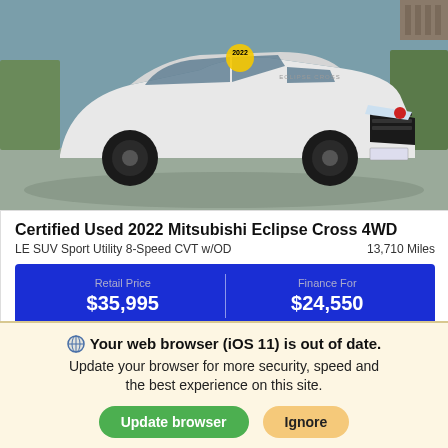[Figure (photo): White 2022 Mitsubishi Eclipse Cross 4WD SUV photographed from front-left angle in a parking lot, yellow price tag sticker visible on windshield]
Certified Used 2022 Mitsubishi Eclipse Cross 4WD
LE SUV Sport Utility 8-Speed CVT w/OD
13,710 Miles
| Retail Price | Finance For |
| --- | --- |
| $35,995 | $24,550 |
Your web browser (iOS 11) is out of date. Update your browser for more security, speed and the best experience on this site.